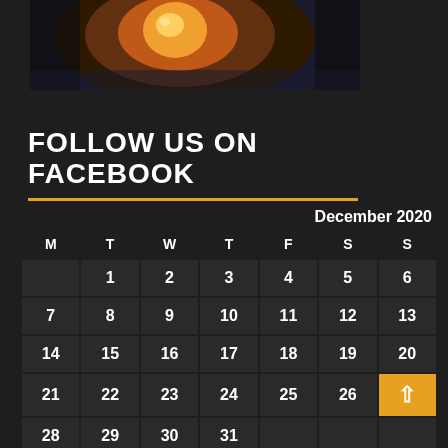[Figure (photo): Camera lens close-up photo with orange and dark tones]
FOLLOW US ON FACEBOOK
| M | T | W | T | F | S | S |
| --- | --- | --- | --- | --- | --- | --- |
|  | 1 | 2 | 3 | 4 | 5 | 6 |
| 7 | 8 | 9 | 10 | 11 | 12 | 13 |
| 14 | 15 | 16 | 17 | 18 | 19 | 20 |
| 21 | 22 | 23 | 24 | 25 | 26 | ↑ |
| 28 | 29 | 30 | 31 |  |  |  |